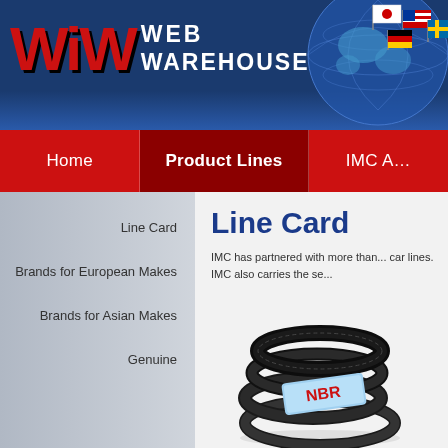[Figure (logo): Web Warehouse logo with WW letters in red and white text on dark blue banner background with globe and flags]
Home | Product Lines | IMC A...
Line Card
Brands for European Makes
Brands for Asian Makes
Genuine
Line Card
IMC has partnered with more tha... car lines. IMC also carries the se...
[Figure (photo): Photo of black automotive drive belts coiled and stacked with a blue NBR label]